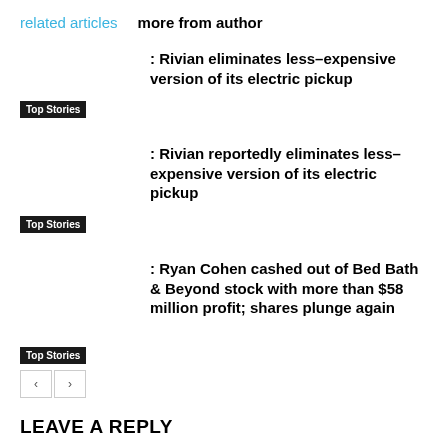related articles   more from author
: Rivian eliminates less-expensive version of its electric pickup
Top Stories
: Rivian reportedly eliminates less-expensive version of its electric pickup
Top Stories
: Ryan Cohen cashed out of Bed Bath & Beyond stock with more than $58 million profit; shares plunge again
Top Stories
LEAVE A REPLY